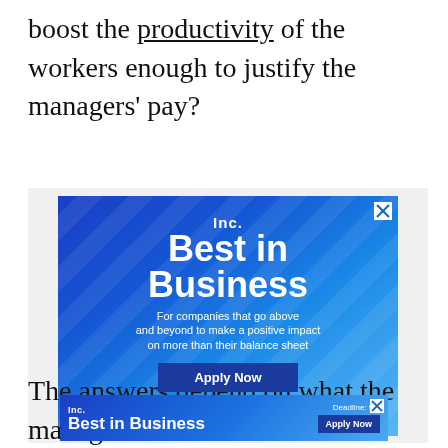boost the productivity of the workers enough to justify the managers' pay?
[Figure (illustration): Advertisement for Inc. Best in Business award. Blue gradient background with diagonal light streaks. Shows 'Inc.' in bold, 'Best in Business' in large white text, subtitle 'For companies that go above and beyond to make a positive impact on more than their balance sheet', a dark blue 'Apply Now' button, and 'Deadline: September 16' text. Has an X close button in top right corner.]
The answers depend on what the managers are d... rvey
[Figure (illustration): Small sticky banner advertisement for Inc. Best in Business. Shows 'Inc.' and 'Best in Business' on left, 'Deadline: 9/1' and 'Apply Now' button on right, with X close button.]